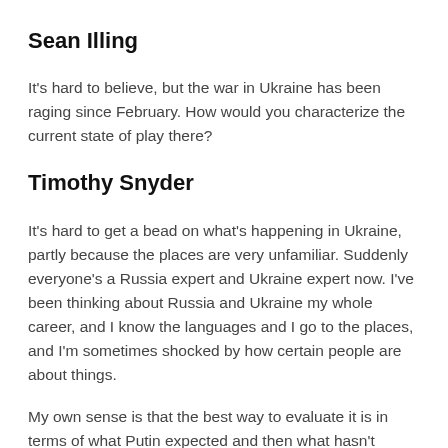Sean Illing
It's hard to believe, but the war in Ukraine has been raging since February. How would you characterize the current state of play there?
Timothy Snyder
It's hard to get a bead on what's happening in Ukraine, partly because the places are very unfamiliar. Suddenly everyone's a Russia expert and Ukraine expert now. I've been thinking about Russia and Ukraine my whole career, and I know the languages and I go to the places, and I'm sometimes shocked by how certain people are about things.
My own sense is that the best way to evaluate it is in terms of what Putin expected and then what hasn't happened. So what Putin expected was that the whole country would fold up within three days. And that expectation was based upon a political assumption about what Ukraine is or what it isn't. That obviously didn't turn out to be true, but, as we know from lots of other historical examples, once you start a war, no matter how dumb your premise is, it's very unlikely that